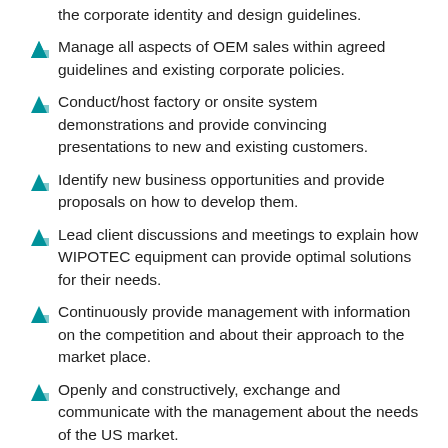the corporate identity and design guidelines.
Manage all aspects of OEM sales within agreed guidelines and existing corporate policies.
Conduct/host factory or onsite system demonstrations and provide convincing presentations to new and existing customers.
Identify new business opportunities and provide proposals on how to develop them.
Lead client discussions and meetings to explain how WIPOTEC equipment can provide optimal solutions for their needs.
Continuously provide management with information on the competition and about their approach to the market place.
Openly and constructively, exchange and communicate with the management about the needs of the US market.
Other duties as needed.